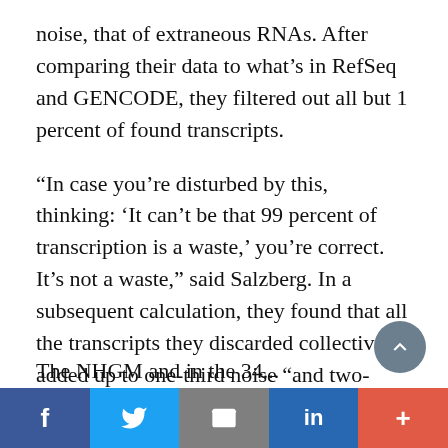noise, that of extraneous RNAs. After comparing their data to what's in RefSeq and GENCODE, they filtered out all but 1 percent of found transcripts.
“In case you’re disturbed by this, thinking: ‘It can’t be that 99 percent of transcription is a waste,’ you’re correct. It’s not a waste,” said Salzberg. In a subsequent calculation, they found that all the transcripts they discarded collectively added up to one-third noise “and two-thirds were parts of the 43,000 that we think are real genes.”